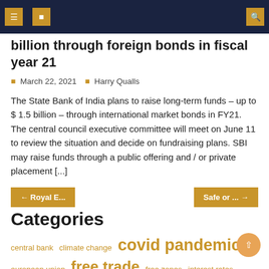[ ] [ ] [search icon]
billion through foreign bonds in fiscal year 21
March 22, 2021   Harry Qualls
The State Bank of India plans to raise long-term funds – up to $ 1.5 billion – through international market bonds in FY21. The central council executive committee will meet on June 11 to review the situation and decide on fundraising plans. SBI may raise funds through a public offering and / or private placement [...]
← Royal E...   Safe or ... →
Categories
central bank   climate change   covid pandemic
european union   free trade   free zones   interest rates